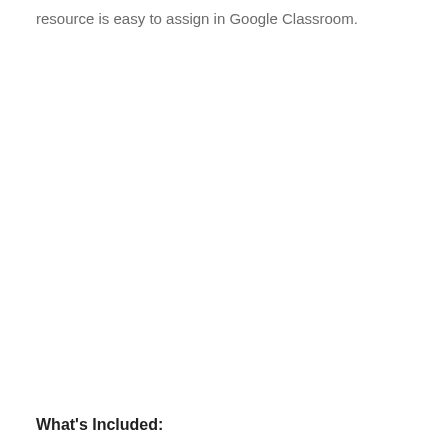resource is easy to assign in Google Classroom.
What's Included: